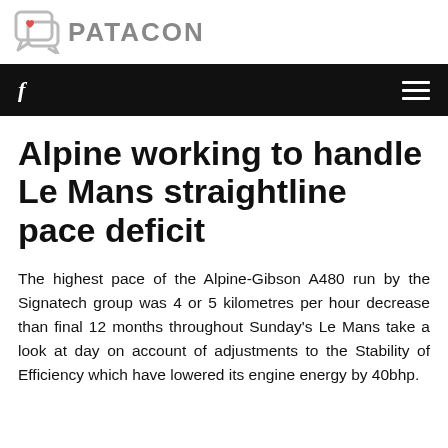[Figure (logo): Patacon logo: speech bubble icon with a heart, next to the text PATACON in grey uppercase bold letters]
f  ≡
Alpine working to handle Le Mans straightline pace deficit
The highest pace of the Alpine-Gibson A480 run by the Signatech group was 4 or 5 kilometres per hour decrease than final 12 months throughout Sunday's Le Mans take a look at day on account of adjustments to the Stability of Efficiency which have lowered its engine energy by 40bhp.